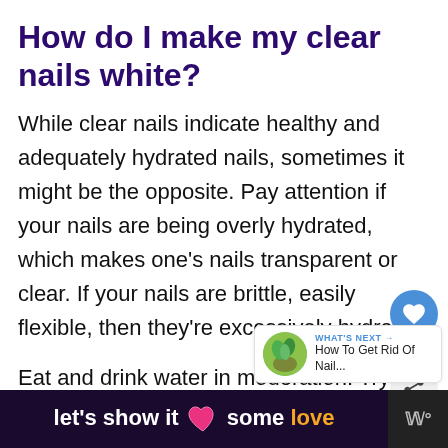How do I make my clear nails white?
While clear nails indicate healthy and adequately hydrated nails, sometimes it might be the opposite. Pay attention if your nails are being overly hydrated, which makes one's nails transparent or clear. If your nails are brittle, easily flexible, then they're excessively hydrated.
Eat and drink water in moderation. Try to
[Figure (other): Social engagement sidebar with heart/like button showing count of 4, and a share button]
[Figure (other): What's Next thumbnail link: How To Get Rid Of Nail...]
[Figure (other): Advertisement banner: let's show it some love with heart icon, and logo on right]